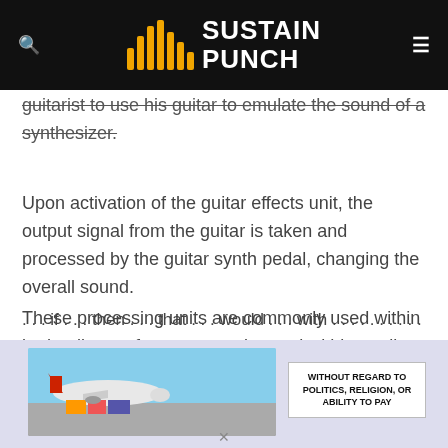SUSTAIN PUNCH
guitarist to use his guitar to emulate the sound of a synthesizer.
Upon activation of the guitar effects unit, the output signal from the guitar is taken and processed by the guitar synth pedal, changing the overall sound.
These processing units are commonly used within both a live performance setting and within studio recording sessions.
[Figure (photo): Advertisement banner showing an airplane being loaded with cargo, with text 'WITHOUT REGARD TO POLITICS, RELIGION, OR ABILITY TO PAY']
...if...then...that...would...with...